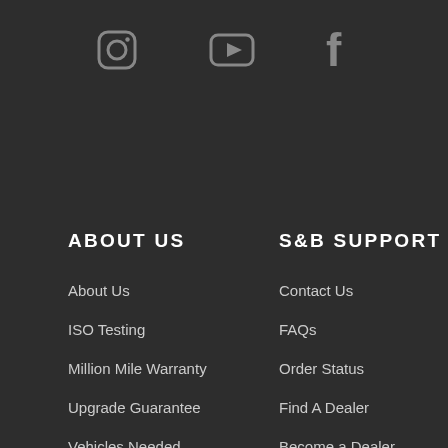[Figure (illustration): Social media icons row: Instagram (rounded square with circle), YouTube (play button), Facebook (f) — all in grey on dark background]
ABOUT US
About Us
ISO Testing
Million Mile Warranty
Upgrade Guarantee
Vehicles Needed
Refund Policy
S&B SUPPORT
Contact Us
FAQs
Order Status
Find A Dealer
Become a Dealer
Safety Data Sheets